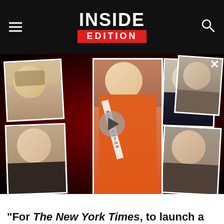INSIDE EDITION
[Figure (photo): Video thumbnail showing a collage of five women's photos arranged around a central image of a woman in an orange bikini wearing a Washington sash, with a play button overlay in the center and a close X button in the top right.]
"For The New York Times, to launch a completely false coordinated character assassination against Mr. Trump, on a topic like